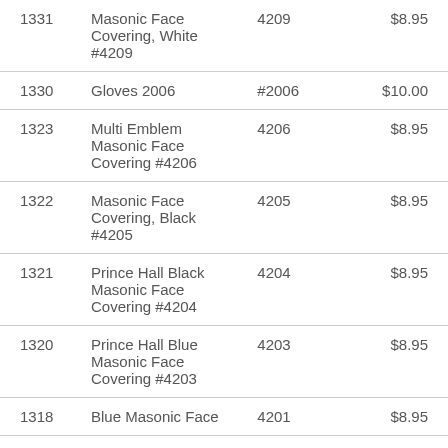| 1331 | Masonic Face Covering, White #4209 | 4209 | $8.95 |
| 1330 | Gloves 2006 | #2006 | $10.00 |
| 1323 | Multi Emblem Masonic Face Covering #4206 | 4206 | $8.95 |
| 1322 | Masonic Face Covering, Black #4205 | 4205 | $8.95 |
| 1321 | Prince Hall Black Masonic Face Covering #4204 | 4204 | $8.95 |
| 1320 | Prince Hall Blue Masonic Face Covering #4203 | 4203 | $8.95 |
| 1318 | Blue Masonic Face | 4201 | $8.95 |